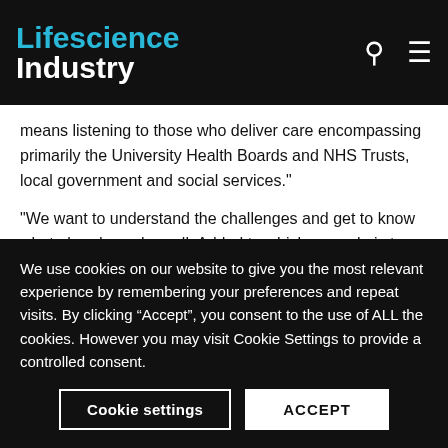Lifescience Industry
means listening to those who deliver care encompassing primarily the University Health Boards and NHS Trusts, local government and social services."
"We want to understand the challenges and get to know what already works well. Added to which, our role is to find and exploit innovative solutions from the life sciences sector that can ease the pressure on NHS staff and improve outcomes for patients.
We use cookies on our website to give you the most relevant experience by remembering your preferences and repeat visits. By clicking “Accept”, you consent to the use of ALL the cookies. However you may visit Cookie Settings to provide a controlled consent.
Cookie settings
ACCEPT